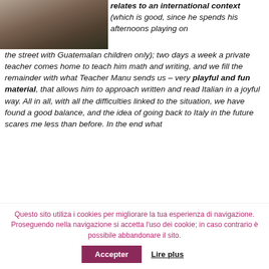[Figure (photo): Partial photo of a wooden outdoor structure, cropped at top of page]
relates to an international context (which is good, since he spends his afternoons playing on the street with Guatemalan children only); two days a week a private teacher comes home to teach him math and writing, and we fill the remainder with what Teacher Manu sends us – very playful and fun material, that allows him to approach written and read Italian in a joyful way. All in all, with all the difficulties linked to the situation, we have found a good balance, and the idea of going back to Italy in the future scares me less than before. In the end what
Questo sito utiliza i cookies per migliorare la tua esperienza di navigazione. Proseguendo nella navigazione si accetta l'uso dei cookie; in caso contrario è possibile abbandonare il sito.